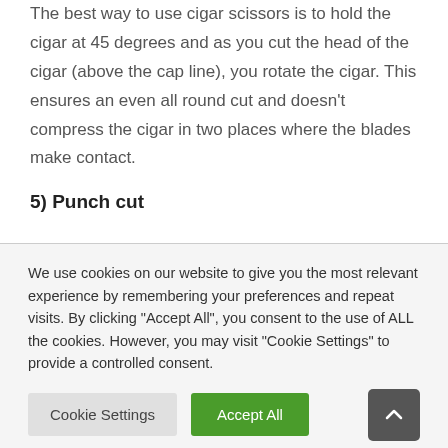The best way to use cigar scissors is to hold the cigar at 45 degrees and as you cut the head of the cigar (above the cap line), you rotate the cigar. This ensures an even all round cut and doesn't compress the cigar in two places where the blades make contact.
5) Punch cut
We use cookies on our website to give you the most relevant experience by remembering your preferences and repeat visits. By clicking "Accept All", you consent to the use of ALL the cookies. However, you may visit "Cookie Settings" to provide a controlled consent.